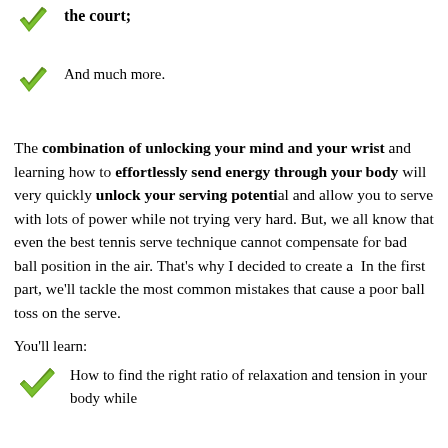the court;
And much more.
The combination of unlocking your mind and your wrist and learning how to effortlessly send energy through your body will very quickly unlock your serving potential and allow you to serve with lots of power while not trying very hard. But, we all know that even the best tennis serve technique cannot compensate for bad ball position in the air. That's why I decided to create a  In the first part, we'll tackle the most common mistakes that cause a poor ball toss on the serve.
You'll learn:
How to find the right ratio of relaxation and tension in your body while